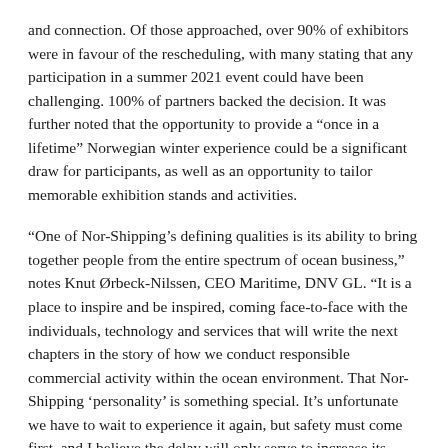and connection. Of those approached, over 90% of exhibitors were in favour of the rescheduling, with many stating that any participation in a summer 2021 event could have been challenging. 100% of partners backed the decision. It was further noted that the opportunity to provide a “once in a lifetime” Norwegian winter experience could be a significant draw for participants, as well as an opportunity to tailor memorable exhibition stands and activities.
“One of Nor-Shipping’s defining qualities is its ability to bring together people from the entire spectrum of ocean business,” notes Knut Ørbeck-Nilssen, CEO Maritime, DNV GL. “It is a place to inspire and be inspired, coming face-to-face with the individuals, technology and services that will write the next chapters in the story of how we conduct responsible commercial activity within the ocean environment. That Nor-Shipping ‘personality’ is something special. It’s unfortunate we have to wait to experience it again, but safety must come first, and I believe the delay will only serve to increase its value.”